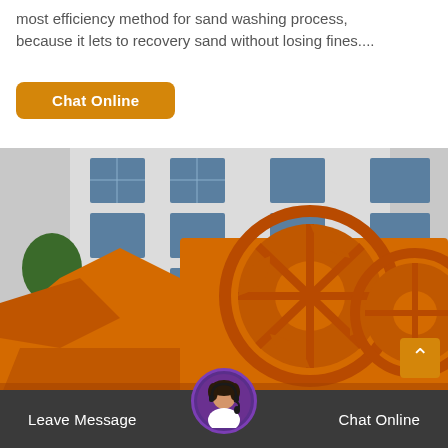The use of hydrocyclones in sand washing machines is the most efficiency method for sand washing process, because it lets to recovery sand without losing fines....
[Figure (photo): Large orange industrial sand washing machine with wheel/bucket mechanism, photographed outdoors in front of a white factory building.]
Leave Message   Chat Online